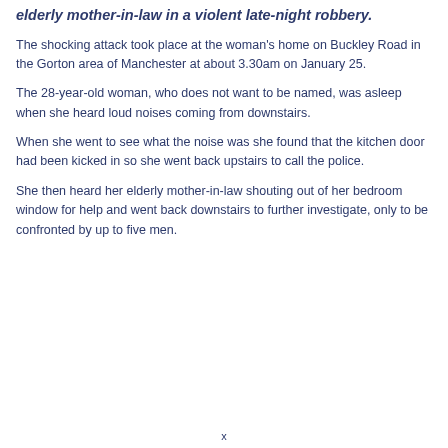elderly mother-in-law in a violent late-night robbery.
The shocking attack took place at the woman's home on Buckley Road in the Gorton area of Manchester at about 3.30am on January 25.
The 28-year-old woman, who does not want to be named, was asleep when she heard loud noises coming from downstairs.
When she went to see what the noise was she found that the kitchen door had been kicked in so she went back upstairs to call the police.
She then heard her elderly mother-in-law shouting out of her bedroom window for help and went back downstairs to further investigate, only to be confronted by up to five men.
x